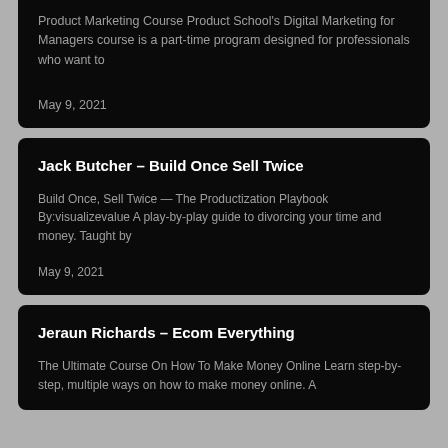Product Marketing Course Product School's Digital Marketing for Managers course is a part-time program designed for professionals who want to
May 9, 2021
Jack Butcher – Build Once Sell Twice
Build Once, Sell Twice — The Productization Playbook By:visualizevalue A play-by-play guide to divorcing your time and money. Taught by
May 9, 2021
Jeraun Richards – Ecom Everything
The Ultimate Course On How To Make Money Online Learn step-by-step, multiple ways on how to make money online. A